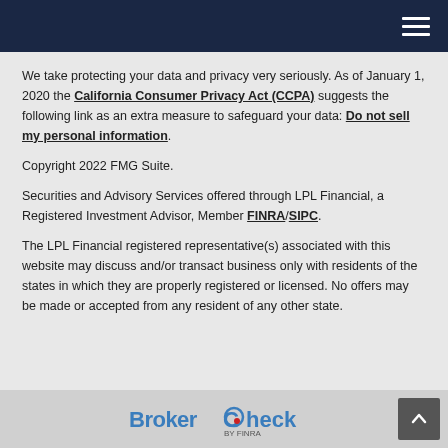Navigation header with hamburger menu
We take protecting your data and privacy very seriously. As of January 1, 2020 the California Consumer Privacy Act (CCPA) suggests the following link as an extra measure to safeguard your data: Do not sell my personal information.
Copyright 2022 FMG Suite.
Securities and Advisory Services offered through LPL Financial, a Registered Investment Advisor, Member FINRA/SIPC.
The LPL Financial registered representative(s) associated with this website may discuss and/or transact business only with residents of the states in which they are properly registered or licensed. No offers may be made or accepted from any resident of any other state.
[Figure (logo): BrokerCheck by FINRA logo in the footer bar]